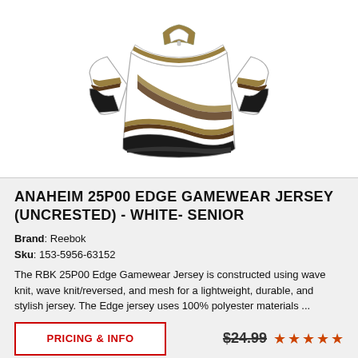[Figure (illustration): Anaheim Ducks style hockey jersey illustration - white base with black and gold/tan wave stripes on the front and sleeves, black cuffs and bottom hem, gold/tan collar]
ANAHEIM 25P00 EDGE GAMEWEAR JERSEY (UNCRESTED) - WHITE- SENIOR
Brand: Reebok
Sku: 153-5956-63152
The RBK 25P00 Edge Gamewear Jersey is constructed using wave knit, wave knit/reversed, and mesh for a lightweight, durable, and stylish jersey. The Edge jersey uses 100% polyester materials ...
PRICING & INFO
$24.99